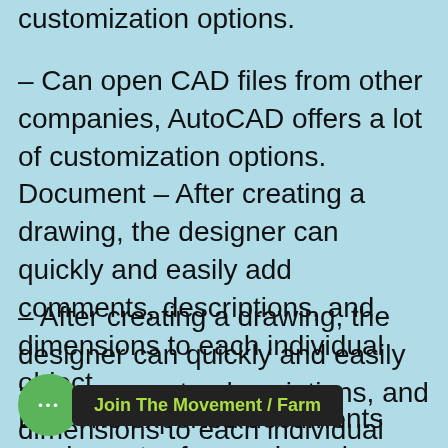customization options.
– Can open CAD files from other companies, AutoCAD offers a lot of customization options. Document – After creating a drawing, the designer can quickly and easily add comments, descriptions, and dimensions to each individual object.
– After creating a drawing, the designer can quickly and easily add comments, descriptions, and dimensions to each individual object.
Ex– The exported documents are in vector for... and can be easily edited and resized.